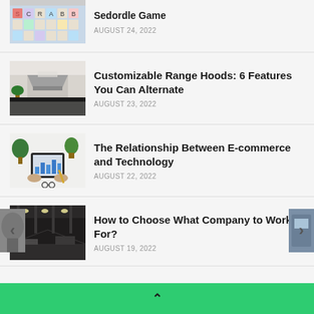[Figure (photo): Partial view of a Scrabble/word game board with colorful tiles]
Sedordle Game
AUGUST 24, 2022
[Figure (photo): Modern kitchen interior with black countertops and range hood]
Customizable Range Hoods: 6 Features You Can Alternate
AUGUST 23, 2022
[Figure (photo): Person holding a tablet with charts, surrounded by plants on a white desk]
The Relationship Between E-commerce and Technology
AUGUST 22, 2022
[Figure (photo): Industrial office or warehouse interior with overhead lighting]
How to Choose What Company to Work For?
AUGUST 19, 2022